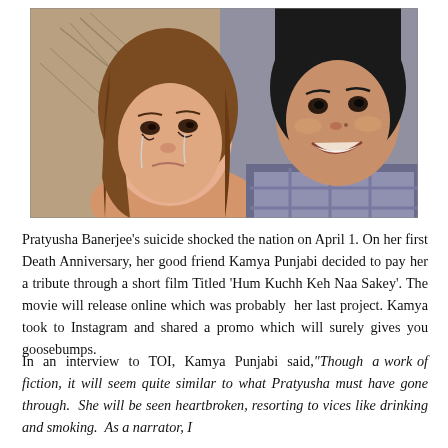[Figure (photo): A photo of two women posing together. The woman on the left (Pratyusha Banerjee) appears to be crying or emotional, with tears on her face, wearing makeup, with loose brown hair. The woman on the right (Kamya Punjabi) is smiling broadly, wearing a plaid/checkered shirt, with straight black hair pulled back.]
Pratyusha Banerjee's suicide shocked the nation on April 1. On her first Death Anniversary, her good friend Kamya Punjabi decided to pay her a tribute through a short film Titled 'Hum Kuchh Keh Naa Sakey'. The movie will release online which was probably  her last project. Kamya took to Instagram and shared a promo which will surely gives you goosebumps.
In an interview to TOI, Kamya Punjabi said,"Though a work of fiction, it will seem quite similar to what Pratyusha must have gone through. She will be seen heartbroken, resorting to vices like drinking and smoking. As a narrator, I